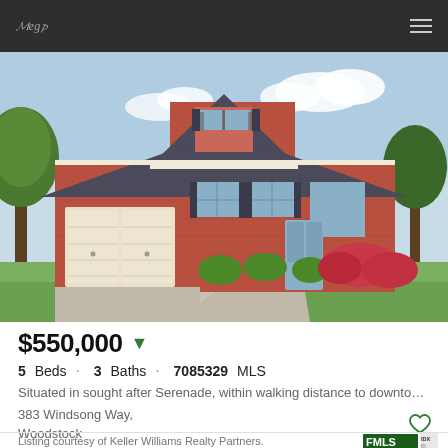Navigation bar with logo and menu icon
[Figure (photo): Front exterior photo of a two-story red brick house with double garage doors, green landscaping, and blue sky background. Located at 383 Windsong Way, Woodstock.]
$550,000
5 Beds · 3 Baths · 7085329 MLS
Situated in sought after Serenade, within walking distance to downtown Wood...
383 Windsong Way,
Woodstock
Listing courtesy of Keller Williams Realty Partners.